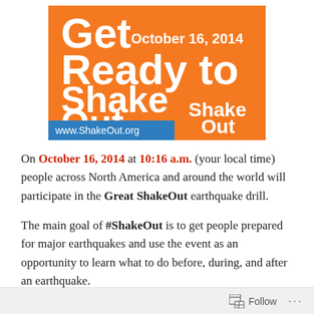[Figure (logo): ShakeOut promotional banner on orange background. Large white bold text reads 'Get Ready to Shake Out.' with 'October 16, 2014' in white on same line as 'Get'. Bottom left has a blue bar with 'www.ShakeOut.org' in white. Bottom right has the ShakeOut logo in white text. Orange background throughout.]
On October 16, 2014 at 10:16 a.m. (your local time) people across North America and around the world will participate in the Great ShakeOut earthquake drill.
The main goal of #ShakeOut is to get people prepared for major earthquakes and use the event as an opportunity to learn what to do before, during, and after an earthquake.
Follow ···